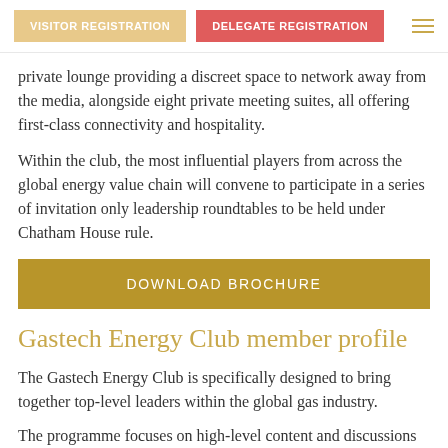VISITOR REGISTRATION | DELEGATE REGISTRATION
private lounge providing a discreet space to network away from the media, alongside eight private meeting suites, all offering first-class connectivity and hospitality.
Within the club, the most influential players from across the global energy value chain will convene to participate in a series of invitation only leadership roundtables to be held under Chatham House rule.
DOWNLOAD BROCHURE
Gastech Energy Club member profile
The Gastech Energy Club is specifically designed to bring together top-level leaders within the global gas industry.
The programme focuses on high-level content and discussions